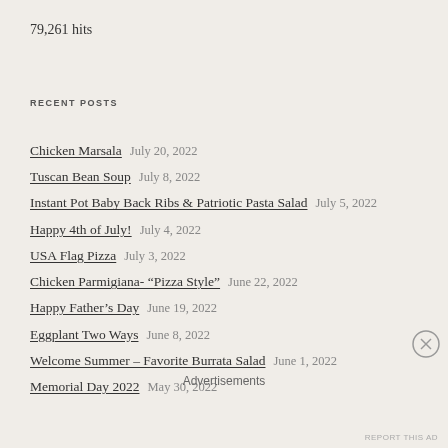79,261 hits
RECENT POSTS
Chicken Marsala    July 20, 2022
Tuscan Bean Soup    July 8, 2022
Instant Pot Baby Back Ribs & Patriotic Pasta Salad    July 5, 2022
Happy 4th of July!    July 4, 2022
USA Flag Pizza    July 3, 2022
Chicken Parmigiana- “Pizza Style”    June 22, 2022
Happy Father’s Day    June 19, 2022
Eggplant Two Ways    June 8, 2022
Welcome Summer – Favorite Burrata Salad    June 1, 2022
Memorial Day 2022    May 30, 2022
Advertisements
REPORT THIS AD